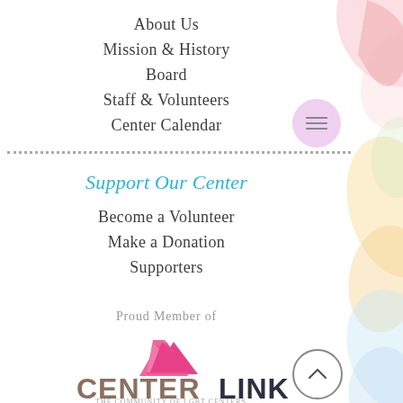About Us
Mission & History
Board
Staff & Volunteers
Center Calendar
Support Our Center
Become a Volunteer
Make a Donation
Supporters
Proud Member of
[Figure (logo): CenterLink logo - The Community of LGBT Centers, with a pink triangle/arrow above the word CENTERLINK in mixed brown and dark blue text]